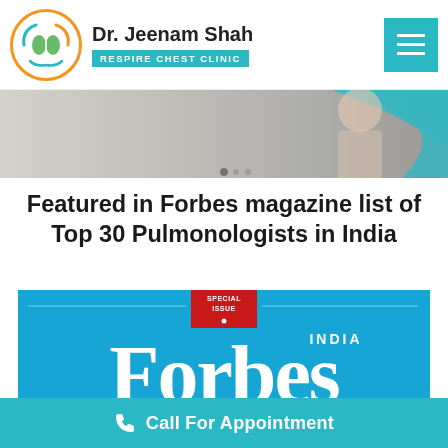Dr. Jeenam Shah - RESPIRE CHEST CLINIC
[Figure (screenshot): Hero banner image showing a person with teal/cyan decorative shapes on a grey background]
Featured in Forbes magazine list of Top 30 Pulmonologists in India
[Figure (photo): Forbes India magazine cover - Special Issue, featuring 'INDIA Forbes' branding in white on cyan/blue background with text 'SALUTE TO THE ULTIMATE 120 WITH THE POWER OF CHANGE']
Call For Appointment